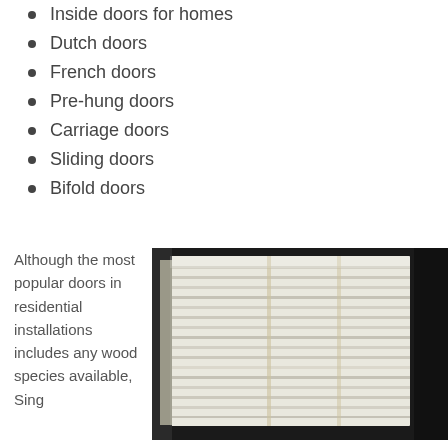Inside doors for homes
Dutch doors
French doors
Pre-hung doors
Carriage doors
Sliding doors
Bifold doors
Although the most popular doors in residential installations includes any wood species available, Sing
[Figure (photo): Stacked wood door panels wrapped in plastic, stored in a warehouse]